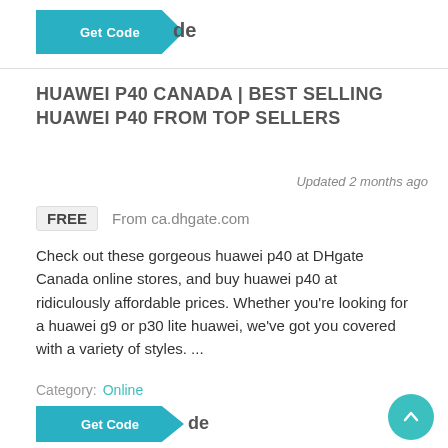[Figure (screenshot): Get Code button at top of page, teal/cyan color with arrow shape cutout, partially visible label 'de' to the right]
HUAWEI P40 CANADA | BEST SELLING HUAWEI P40 FROM TOP SELLERS
Updated 2 months ago
FREE  From ca.dhgate.com
Check out these gorgeous huawei p40 at DHgate Canada online stores, and buy huawei p40 at ridiculously affordable prices. Whether you're looking for a huawei g9 or p30 lite huawei, we've got you covered with a variety of styles. ...
Category:  Online
[Figure (screenshot): Get Code button at bottom of page, teal/cyan color with arrow shape cutout, partially visible label 'de' to the right]